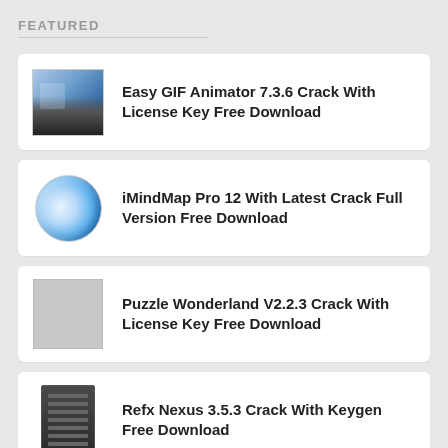FEATURED
Easy GIF Animator 7.3.6 Crack With License Key Free Download
iMindMap Pro 12 With Latest Crack Full Version Free Download
Puzzle Wonderland V2.2.3 Crack With License Key Free Download
Refx Nexus 3.5.3 Crack With Keygen Free Download
Zemax Opticstudio Crack 19.4 With License Key Free Download